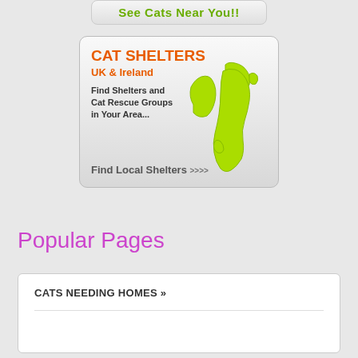[Figure (screenshot): Partial green button at top reading 'See Cats Near You!!']
[Figure (infographic): Cat Shelters UK & Ireland banner with lime-green map of UK and Ireland, text 'Find Shelters and Cat Rescue Groups in Your Area...' and 'Find Local Shelters >>>']
Popular Pages
CATS NEEDING HOMES »